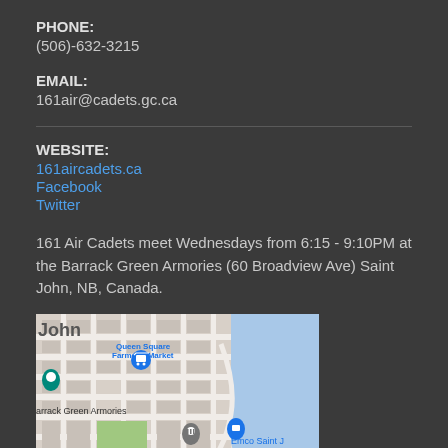PHONE:
(506)-632-3215
EMAIL:
161air@cadets.gc.ca
WEBSITE:
161aircadets.ca
Facebook
Twitter
161 Air Cadets meet Wednesdays from 6:15 - 9:10PM at the Barrack Green Armories (60 Broadview Ave) Saint John, NB, Canada.
[Figure (map): Partial Google Maps screenshot showing Saint John, NB area with pins for Queen Square Farmers' Market, Barrack Green Armories, and Emco Saint John]